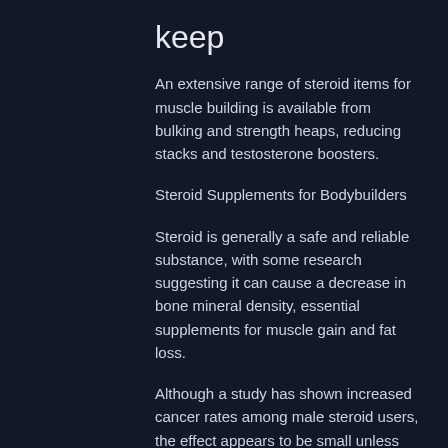keep
An extensive range of steroid items for muscle building is available from bulking and strength heaps, reducing stacks and testosterone boosters.
Steroid Supplements for Bodybuilders
Steroid is generally a safe and reliable substance, with some research suggesting it can cause a decrease in bone mineral density, essential supplements for muscle gain and fat loss.
Although a study has shown increased cancer rates among male steroid users, the effect appears to be small unless you use steroids very often. Steroids, however, do work well if used moderately to moderately frequently for fat loss and muscle building.